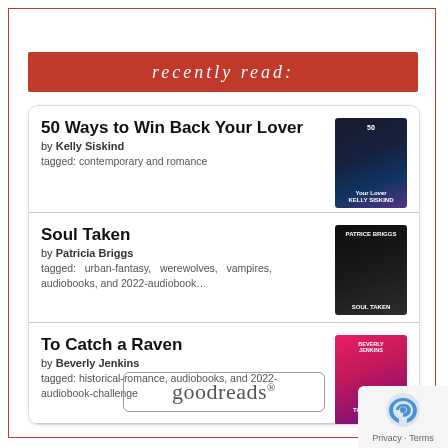recently read:
50 Ways to Win Back Your Lover by Kelly Siskind tagged: contemporary and romance
Soul Taken by Patricia Briggs tagged: urban-fantasy, werewolves, vampires, audiobooks, and 2022-audiobook...
To Catch a Raven by Beverly Jenkins tagged: historical-romance, audiobooks, and 2022-audiobook-challenge
[Figure (logo): Goodreads logo in a rounded rectangle border]
[Figure (logo): reCAPTCHA privacy badge with Privacy and Terms links]